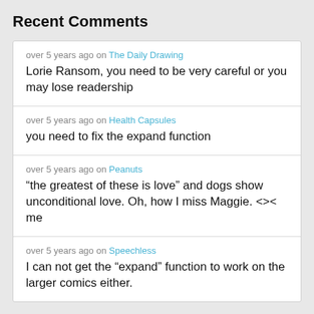Recent Comments
over 5 years ago on The Daily Drawing
Lorie Ransom, you need to be very careful or you may lose readership
over 5 years ago on Health Capsules
you need to fix the expand function
over 5 years ago on Peanuts
“the greatest of these is love” and dogs show unconditional love. Oh, how I miss Maggie. <>< me
over 5 years ago on Speechless
I can not get the “expand” function to work on the larger comics either.